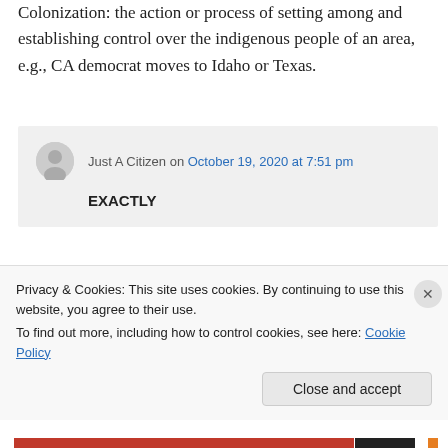Colonization: the action or process of settling among and establishing control over the indigenous people of an area, e.g., CA democrat moves to Idaho or Texas.
Just A Citizen on October 19, 2020 at 7:51 pm
EXACTLY
Just A Citizen on October 19, 2020 at 8:47 pm
Privacy & Cookies: This site uses cookies. By continuing to use this website, you agree to their use.
To find out more, including how to control cookies, see here: Cookie Policy
Close and accept